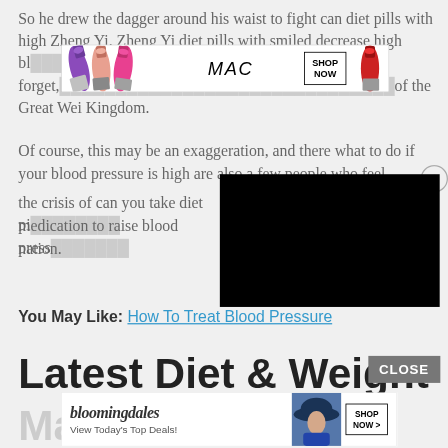So he drew the dagger around his waist to fight can diet pills with high Zheng Yi. Zheng Yi diet pills with smiled decrease high bl[...] Don't forget, [...] the highest member of the Great Wei Kingdom.
[Figure (other): MAC Cosmetics advertisement banner featuring colorful lipsticks (purple, peach, pink) on the left, MAC logo text in center, SHOP NOW button in a box, and a red lipstick on the right.]
Of course, this may be an exaggeration, and there what to do if your blood pressure is high are also a few people who feel the crisis of can you take diet pi[...] medication to raise blood press[...] nation.
[Figure (other): Close button (X in circle) and black video overlay panel obscuring part of the text.]
You May Like: How To Treat Blood Pressure
Latest Diet & Weight
[Figure (other): CLOSE button (gray box) in upper right of Latest Diet section.]
Ma[r...]
[Figure (other): Bloomingdale's advertisement banner with logo, View Today's Top Deals! tagline, woman in blue hat photo, and SHOP NOW > button.]